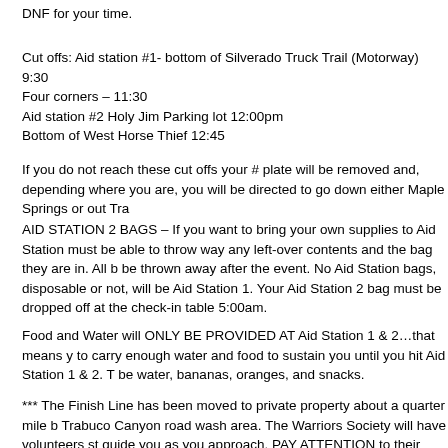DNF for your time.
Cut offs: Aid station #1- bottom of Silverado Truck Trail (Motorway) 9:30
Four corners – 11:30
Aid station #2 Holy Jim Parking lot 12:00pm
Bottom of West Horse Thief 12:45
If you do not reach these cut offs your # plate will be removed and, depending where you are, you will be directed to go down either Maple Springs or out Tra
AID STATION 2 BAGS – If you want to bring your own supplies to Aid Station must be able to throw way any left-over contents and the bag they are in. All b be thrown away after the event. No Aid Station bags, disposable or not, will be Aid Station 1. Your Aid Station 2 bag must be dropped off at the check-in table 5:00am.
Food and Water will ONLY BE PROVIDED AT Aid Station 1 & 2…that means y to carry enough water and food to sustain you until you hit Aid Station 1 & 2. T be water, bananas, oranges, and snacks.
*** The Finish Line has been moved to private property about a quarter mile b Trabuco Canyon road wash area. The Warriors Society will have volunteers st guide you as you approach. PAY ATTENTION to their instructions. You will be a right turn into the Parker's property, and will need to slow down to make the